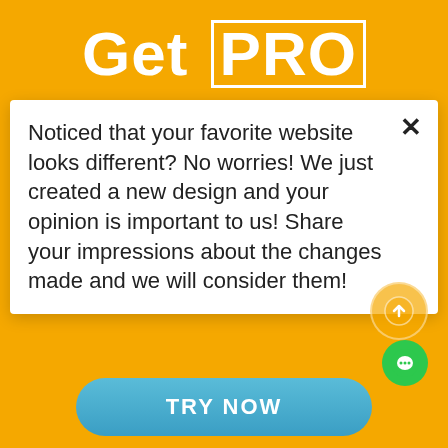Get PRO
Noticed that your favorite website looks different? No worries! We just created a new design and your opinion is important to us! Share your impressions about the changes made and we will consider them!
TRY NOW
[Figure (photo): Young woman with long brown hair looking upward thoughtfully, holding a pencil under her chin, wearing a striped shirt, on yellow background]
[Figure (other): Scroll-to-top circular button with upward arrow, and a green chat button below it]